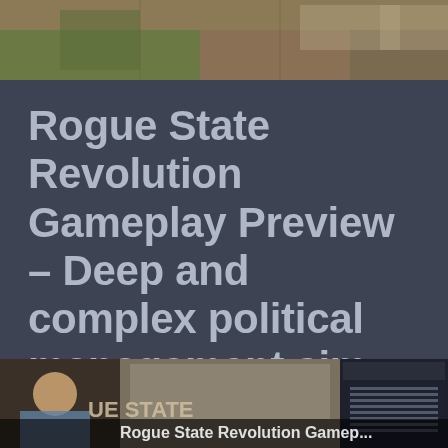[Figure (screenshot): Top portion of a game screenshot showing terrain viewed from above with brown/green fields]
Rogue State Revolution Gameplay Preview – Deep and complex political management sim
duckyobrien   March 19, 2021   2 Minutes
[Figure (screenshot): Video thumbnail showing Rogue State Revolution Gamep... with game UI elements and a presenter visible on the left]